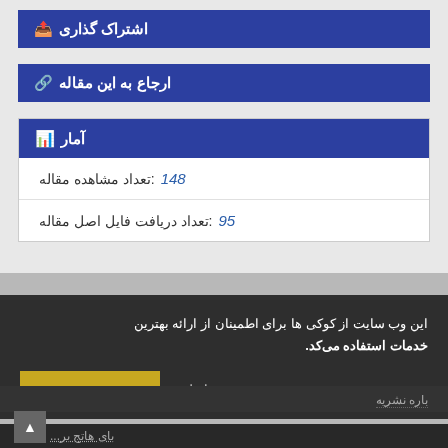اشتراک گذاری
ارجاع به این مقاله
آمار
تعداد مشاهده مقاله: 148
تعداد دریافت فایل اصل مقاله: 95
این وب سایت از کوکی ها برای اطمینان از ارائه بهترین خدمات استفاده می‌کد.
صفحه اصلی    متوجه شدم
باره نشریه
بای هاتج بر...